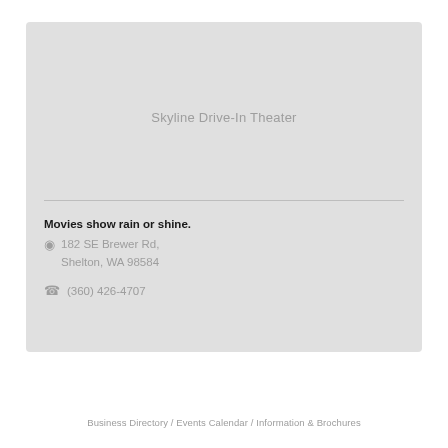Skyline Drive-In Theater
Movies show rain or shine.
182 SE Brewer Rd, Shelton, WA 98584
(360) 426-4707
Business Directory / Events Calendar / Information & Brochures